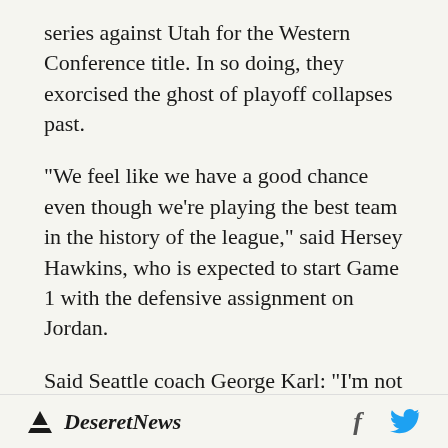series against Utah for the Western Conference title. In so doing, they exorcised the ghost of playoff collapses past.
"We feel like we have a good chance even though we're playing the best team in the history of the league," said Hersey Hawkins, who is expected to start Game 1 with the defensive assignment on Jordan.
Said Seattle coach George Karl: "I'm not predicting, I'm preparing. I have to be prepared for a lot of stuff. There's a lot of greatness out there."
Deseret News